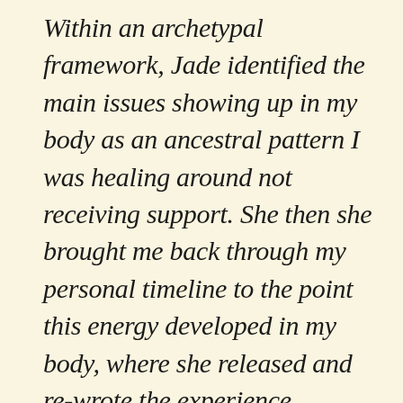Within an archetypal framework, Jade identified the main issues showing up in my body as an ancestral pattern I was healing around not receiving support. She then she brought me back through my personal timeline to the point this energy developed in my body, where she released and re-wrote the experience, effectively re-imprinted my